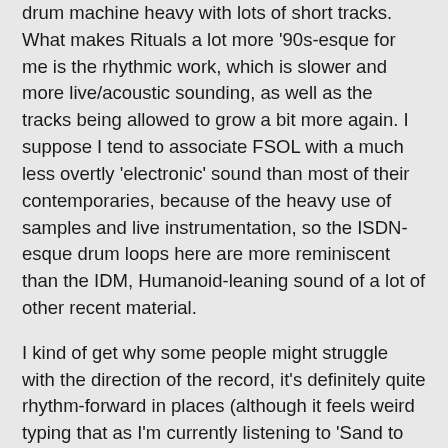drum machine heavy with lots of short tracks. What makes Rituals a lot more '90s-esque for me is the rhythmic work, which is slower and more live/acoustic sounding, as well as the tracks being allowed to grow a bit more again. I suppose I tend to associate FSOL with a much less overtly 'electronic' sound than most of their contemporaries, because of the heavy use of samples and live instrumentation, so the ISDN-esque drum loops here are more reminiscent than the IDM, Humanoid-leaning sound of a lot of other recent material.
I kind of get why some people might struggle with the direction of the record, it's definitely quite rhythm-forward in places (although it feels weird typing that as I'm currently listening to 'Sand to Ocean') and, other than 'Hopiate', avoids the more expansive side of the band's sound maybe. I think the particular appeal of the '90s material is that blend of electronic and acoustic, of experimental and accessible. They undoubtedly put out some of the strangest material released on a major label in the 1990s, but at the same time those records are chock full of genuinely hook-filled music, either through samples or their own compositions. The Environments series is definitely considerably less commercial in that respect: there's very little on any of them